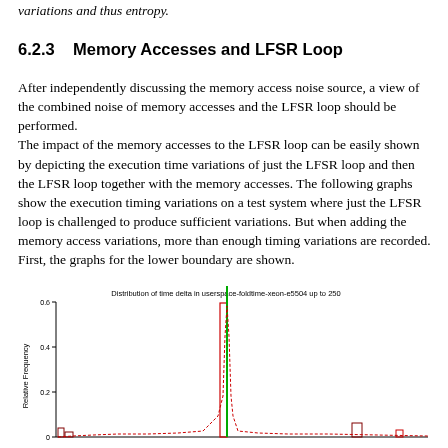variations and thus entropy.
6.2.3   Memory Accesses and LFSR Loop
After independently discussing the memory access noise source, a view of the combined noise of memory accesses and the LFSR loop should be performed.
The impact of the memory accesses to the LFSR loop can be easily shown by depicting the execution time variations of just the LFSR loop and then the LFSR loop together with the memory accesses. The following graphs show the execution timing variations on a test system where just the LFSR loop is challenged to produce sufficient variations. But when adding the memory access variations, more than enough timing variations are recorded. First, the graphs for the lower boundary are shown.
[Figure (continuous-plot): Histogram/distribution chart showing relative frequency vs time delta up to 250. A tall red vertical bar and a green vertical bar near the center dominate the plot. A small red dashed curve and small rectangles (bars) are visible near the baseline. Y-axis goes from 0 to 0.6. The dominant bars appear near the x=0 region.]